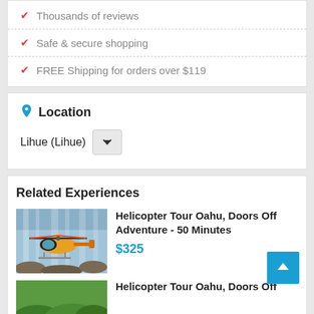Thousands of reviews
Safe & secure shopping
FREE Shipping for orders over $119
Location
Lihue (Lihue)
Related Experiences
Helicopter Tour Oahu, Doors Off Adventure - 50 Minutes
$325
Helicopter Tour Oahu, Doors Off